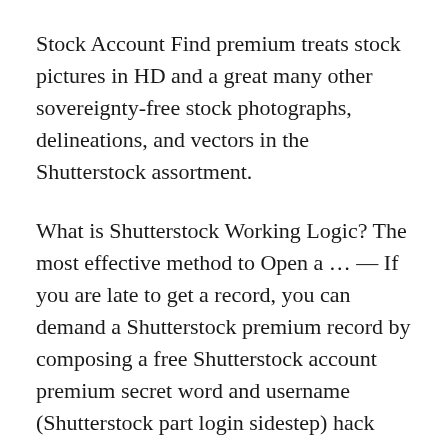Stock Account Find premium treats stock pictures in HD and a great many other sovereignty-free stock photographs, delineations, and vectors in the Shutterstock assortment.
What is Shutterstock Working Logic? The most effective method to Open a … — If you are late to get a record, you can demand a Shutterstock premium record by composing a free Shutterstock account premium secret word and username (Shutterstock part login sidestep) hack shared and working
Shutterstock account username and secret phrase hack free accreditations for full premium webpage login access and sidestep Shutterstock pictures free download without…